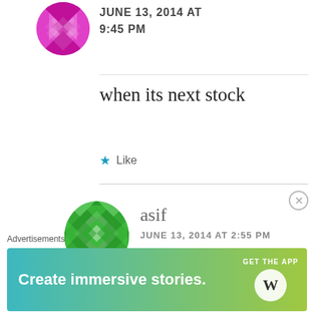[Figure (illustration): Pink/magenta geometric quilt-pattern avatar, partially cropped at top]
JUNE 13, 2014 AT 9:45 PM
when its next stock
★ Like
[Figure (illustration): Green geometric quilt-pattern avatar for user 'asif']
asif
JUNE 13, 2014 AT 2:55 PM
when is it to be in stock again..??
Advertisements
[Figure (screenshot): WordPress app advertisement banner: 'Create immersive stories. GET THE APP' with WordPress logo, gradient teal-to-yellow-green background]